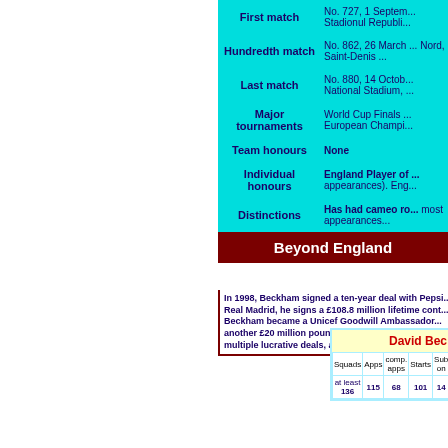|  | First match | Hundredth match | Last match | Major tournaments | Team honours | Individual honours | Distinctions | Beyond England |
| --- | --- | --- | --- | --- | --- | --- | --- | --- |
| First match | No. 727, 1 September ... Stadionul Republicii... |
| Hundredth match | No. 862, 26 March ... Nord, Saint-Denis ... |
| Last match | No. 880, 14 October ... National Stadium, ... |
| Major tournaments | World Cup Finals ... European Champi... |
| Team honours | None |
| Individual honours | England Player of ... appearances). Eng... |
| Distinctions | Has had cameo ro... most appearances... |
| Beyond England |  |
In 1998, Beckham signed a ten-year deal with Pepsi... Real Madrid, he signs a £108.8 million lifetime cont... Beckham became a Unicef Goodwill Ambassador... another £20 million pound deal. In February 201... multiple lucrative deals, also with Haig Club whi...
| David Bec... |  |  |  |  |  |
| --- | --- | --- | --- | --- | --- |
| Squads | Apps | comp. apps | Starts | Sub on | Su |
| at least 136 | 115 | 68 | 101 | 14 | 4 |